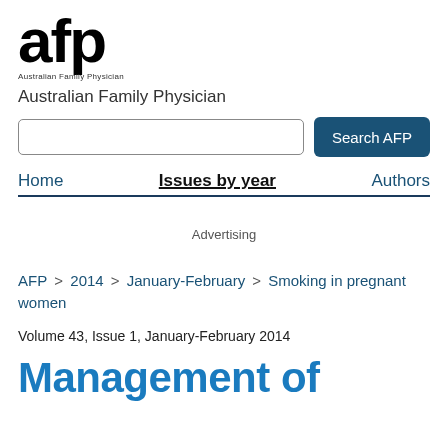[Figure (logo): AFP (Australian Family Physician) journal logo — large bold 'afp' lettering with 'Australian Family Physician' text below]
Australian Family Physician
Search AFP (search input and button)
Home   Issues by year   Authors
Advertising
AFP > 2014 > January-February > Smoking in pregnant women
Volume 43, Issue 1, January-February 2014
Management of